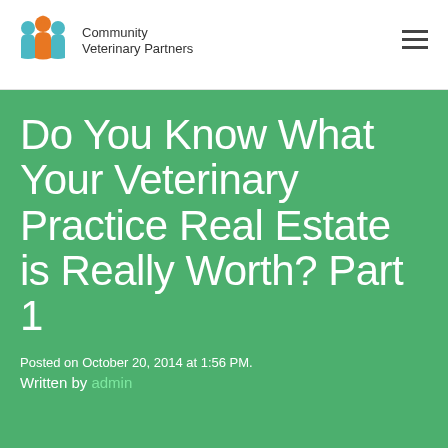[Figure (logo): Community Veterinary Partners logo with colorful people/paw icons and text]
Do You Know What Your Veterinary Practice Real Estate is Really Worth? Part 1
Posted on October 20, 2014 at 1:56 PM.
Written by admin